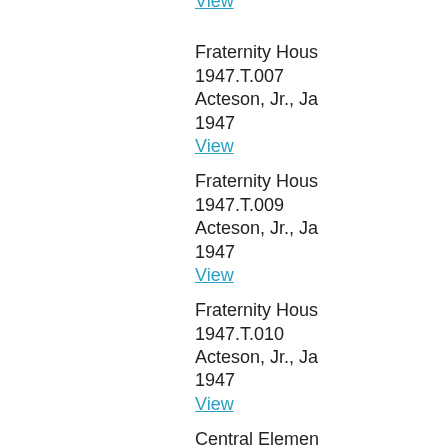View
Fraternity Hous
1947.T.007
Acteson, Jr., Ja
1947
View
Fraternity Hous
1947.T.009
Acteson, Jr., Ja
1947
View
Fraternity Hous
1947.T.010
Acteson, Jr., Ja
1947
View
Central Elemen
1947.T.012
Arnold, Allen S.
1947
View
Central Elemen